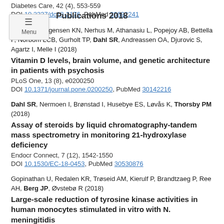Diabetes Care, 42 (4), 553-559
DOI 10.2337/dc18-2176, PubMed 30692241
Publications 2018
Berg AO, Jørgensen KN, Nerhus M, Athanasiu L, Popejoy AB, Bettella F, Norbom LCB, Gurholt TP, Dahl SR, Andreassen OA, Djurovic S, Agartz I, Melle I (2018)
Vitamin D levels, brain volume, and genetic architecture in patients with psychosis
PLoS One, 13 (8), e0200250
DOI 10.1371/journal.pone.0200250, PubMed 30142216
Dahl SR, Nermoen I, Brønstad I, Husebye ES, Løvås K, Thorsby PM (2018)
Assay of steroids by liquid chromatography-tandem mass spectrometry in monitoring 21-hydroxylase deficiency
Endocr Connect, 7 (12), 1542-1550
DOI 10.1530/EC-18-0453, PubMed 30530876
Gopinathan U, Redalen KR, Trøseid AM, Kierulf P, Brandtzaeg P, Ree AH, Berg JP, Øvstebø R (2018)
Large-scale reduction of tyrosine kinase activities in human monocytes stimulated in vitro with N. meningitidis